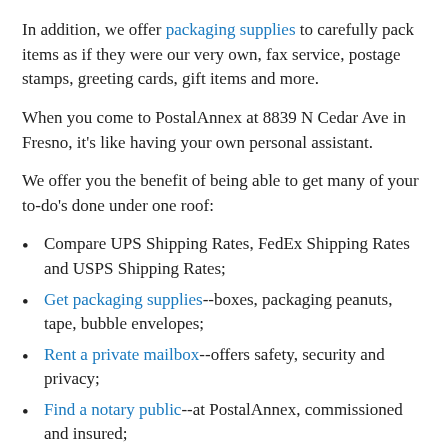In addition, we offer packaging supplies to carefully pack items as if they were our very own, fax service, postage stamps, greeting cards, gift items and more.
When you come to PostalAnnex at 8839 N Cedar Ave in Fresno, it's like having your own personal assistant.
We offer you the benefit of being able to get many of your to-do's done under one roof:
Compare UPS Shipping Rates, FedEx Shipping Rates and USPS Shipping Rates;
Get packaging supplies--boxes, packaging peanuts, tape, bubble envelopes;
Rent a private mailbox--offers safety, security and privacy;
Find a notary public--at PostalAnnex, commissioned and insured;
Get documents copied and printed in color or black &